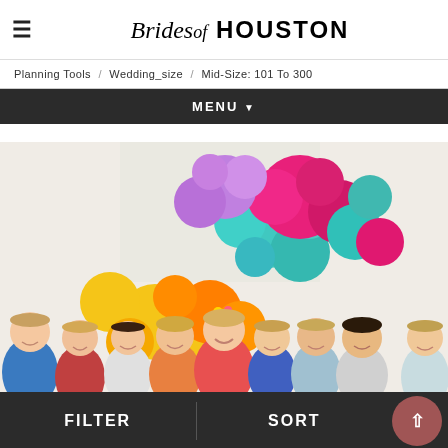Brides of HOUSTON
Planning Tools / Wedding_size / Mid-Size: 101 To 300
MENU ▾
[Figure (photo): Group of women posing together in front of a colorful balloon arch with purple, teal, pink, orange, and yellow balloons, at what appears to be a bridal shower or party event.]
FILTER   SORT